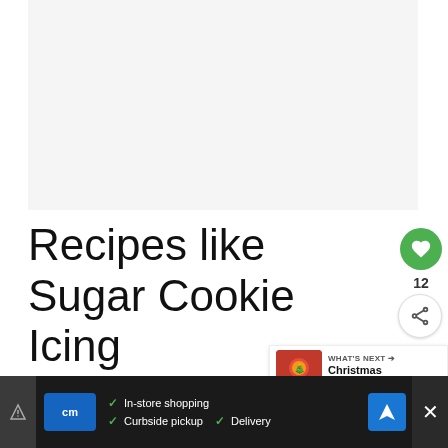[Figure (photo): Hero image area showing sugar cookie icing recipe photo (light gray placeholder)]
Recipes like Sugar Cookie Icing
Then, package them up with some
Peanut Butter Blossom Cookies and
[Figure (infographic): WHAT'S NEXT panel with thumbnail of Christmas Sugar Cookies and link text 'Christmas Sugar Cooki...']
[Figure (infographic): Advertisement banner: CommunityMarkets (cm) - In-store shopping, Curbside pickup, Delivery. With navigation icon and close button.]